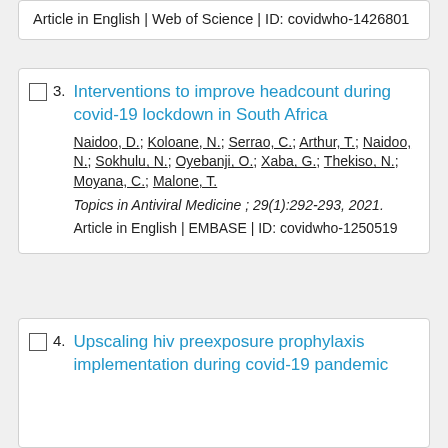Article in English | Web of Science | ID: covidwho-1426801
3. Interventions to improve headcount during covid-19 lockdown in South Africa
Naidoo, D.; Koloane, N.; Serrao, C.; Arthur, T.; Naidoo, N.; Sokhulu, N.; Oyebanji, O.; Xaba, G.; Thekiso, N.; Moyana, C.; Malone, T.
Topics in Antiviral Medicine ; 29(1):292-293, 2021.
Article in English | EMBASE | ID: covidwho-1250519
4. Upscaling hiv preexposure prophylaxis implementation during covid-19 pandemic